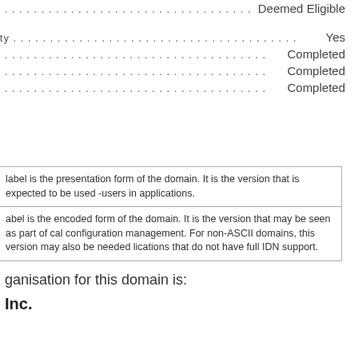......................................... Deemed Eligible
party .............................................  Yes
......................................... Completed
......................................... Completed
......................................... Completed
label is the presentation form of the domain. It is the version that is expected to be used -users in applications.
abel is the encoded form of the domain. It is the version that may be seen as part of cal configuration management. For non-ASCII domains, this version may also be needed lications that do not have full IDN support.
ganisation for this domain is:
Inc.